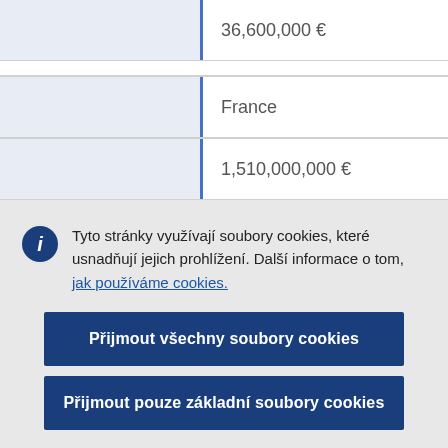|  | 36,600,000 € |
|  | France |
|  | 1,510,000,000 € |
Tyto stránky využívají soubory cookies, které usnadňují jejich prohlížení. Další informace o tom, jak používáme cookies.
Přijmout všechny soubory cookies
Přijmout pouze základní soubory cookies